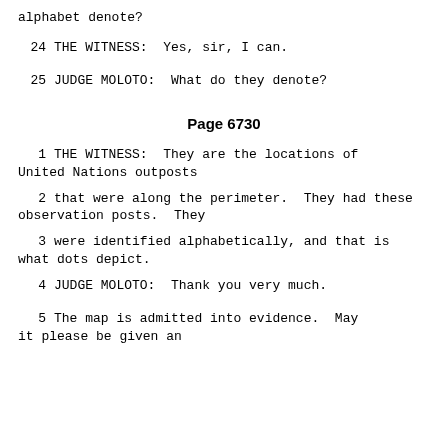alphabet denote?
24    THE WITNESS:  Yes, sir, I can.
25    JUDGE MOLOTO:  What do they denote?
Page 6730
1    THE WITNESS:  They are the locations of United Nations outposts
2    that were along the perimeter.  They had these observation posts.  They
3    were identified alphabetically, and that is what dots depict.
4    JUDGE MOLOTO:  Thank you very much.
5    The map is admitted into evidence.  May it please be given an